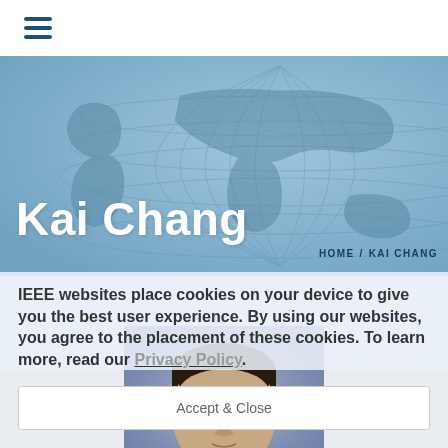≡ (hamburger menu)
[Figure (illustration): Hero banner with light blue world map grid overlay background]
Kai Chang
HOME / KAI CHANG
IEEE websites place cookies on your device to give you the best user experience. By using our websites, you agree to the placement of these cookies. To learn more, read our Privacy Policy.
Accept & Close
[Figure (photo): Portrait photo of Kai Chang, an Asian man with dark hair, against a mottled blue-grey background]